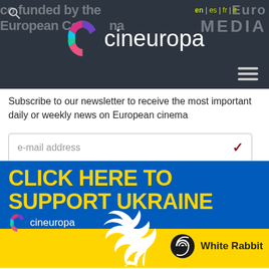[Figure (logo): Cineuropa website header with dark background, logo, language links (en|es|fr|it), search icon, hamburger menu]
Subscribe to our newsletter to receive the most important daily or weekly news on European cinema
[Figure (screenshot): Email address input field with checkmark button]
[Figure (illustration): Ukraine support banner: blue and yellow background, text CLICK HERE TO SUPPORT UKRAINE, Cineuropa logo, white dove, White Rabbit logo]